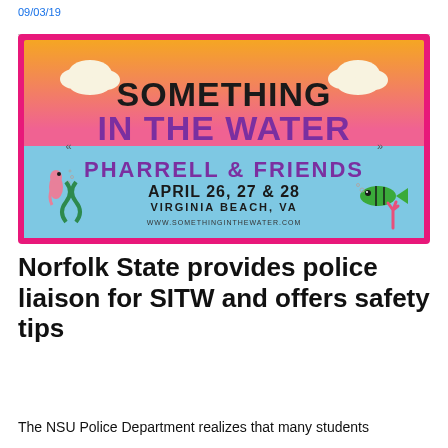09/03/19
[Figure (illustration): Something In The Water festival poster showing colorful gradient background (orange to pink to blue), bold text reading 'SOMETHING IN THE WATER', 'PHARRELL & FRIENDS', 'APRIL 26, 27 & 28', 'VIRGINIA BEACH, VA', 'www.somethinginthewater.com', with decorative clouds, seahorse, fish, seaweed, and coral illustrations. Pink border frame.]
Norfolk State provides police liaison for SITW and offers safety tips
The NSU Police Department realizes that many students